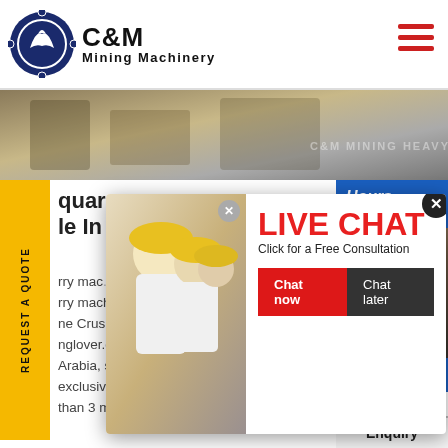[Figure (logo): C&M Mining Machinery logo with eagle gear icon]
[Figure (photo): Banner photo of mining/quarry machinery equipment]
[Figure (screenshot): Live Chat popup overlay with workers in hard hats, Chat now and Chat later buttons]
quarry machine for sale In E...
...rry machine and crusher plant ...ne Crushing Quarry In Saudi Ara... nglover.co.za. quarry crusher pl... Arabia, stone crushing Stone crush... exclusive compound content of po... than 3 mm within the total emissio...
[Figure (photo): Customer service agent with headset, Click to Chat button]
Enquiry